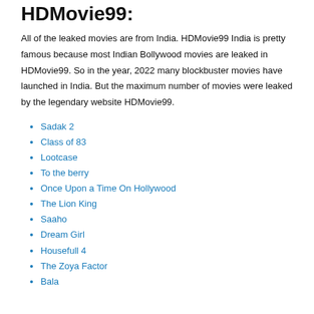HDMovie99:
All of the leaked movies are from India. HDMovie99 India is pretty famous because most Indian Bollywood movies are leaked in HDMovie99. So in the year, 2022 many blockbuster movies have launched in India. But the maximum number of movies were leaked by the legendary website HDMovie99.
Sadak 2
Class of 83
Lootcase
To the berry
Once Upon a Time On Hollywood
The Lion King
Saaho
Dream Girl
Housefull 4
The Zoya Factor
Bala